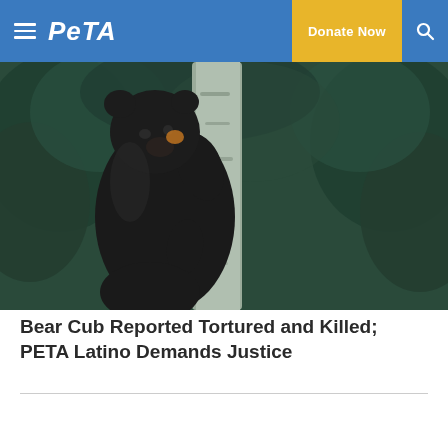PETA — Donate Now
[Figure (photo): A black bear cub hugging and climbing a tree trunk in a forest with green foliage in the background]
Bear Cub Reported Tortured and Killed; PETA Latino Demands Justice